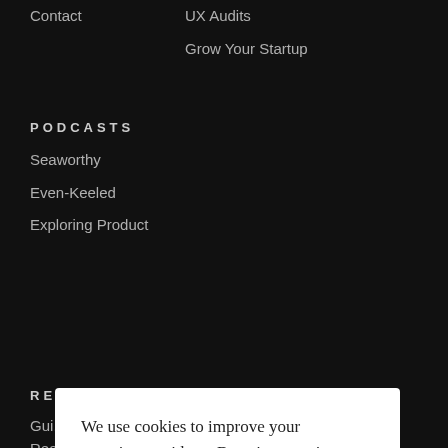Contact
UX Audits
Grow Your Startup
PODCASTS
Seaworthy
Even-Keeled
Exploring Product
RESOURCES
BLOG
Gui...
Rea...
Fou...
Sta...
Op...
We use cookies to improve your experience with us. By using our site or dismissing this notice, you accept the use of cookies. Learn more
Got it!
Reserve Your Spot